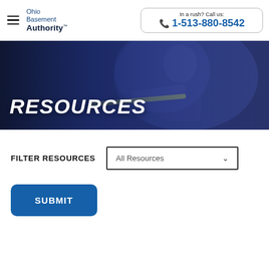Ohio Basement Authority™ | In a rush? Call us: 1-513-880-8542
[Figure (photo): Hero banner with a worker holding a tool, overlaid with a blue-tinted dark gradient and the word RESOURCES in bold white italic text]
RESOURCES
FILTER RESOURCES
All Resources
SUBMIT